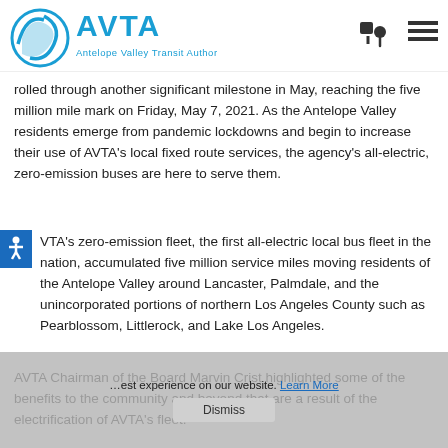AVTA – Antelope Valley Transit Authority
rolled through another significant milestone in May, reaching the five million mile mark on Friday, May 7, 2021. As the Antelope Valley residents emerge from pandemic lockdowns and begin to increase their use of AVTA's local fixed route services, the agency's all-electric, zero-emission buses are here to serve them.
AVTA's zero-emission fleet, the first all-electric local bus fleet in the nation, accumulated five million service miles moving residents of the Antelope Valley around Lancaster, Palmdale, and the unincorporated portions of northern Los Angeles County such as Pearblossom, Littlerock, and Lake Los Angeles.
AVTA Chairman of the Board Marvin Crist highlighted some of the benefits to the community and beyond that are a result of the electrification of AVTA's fleet.